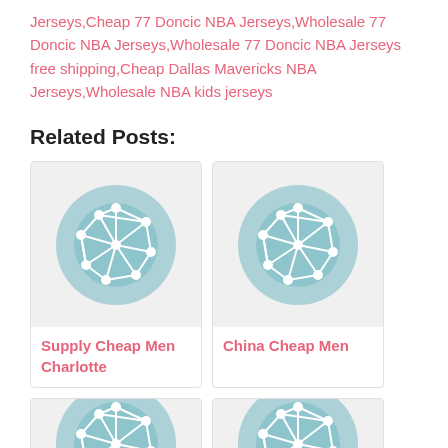Jerseys,Cheap 77 Doncic NBA Jerseys,Wholesale 77 Doncic NBA Jerseys,Wholesale 77 Doncic NBA Jerseys free shipping,Cheap Dallas Mavericks NBA Jerseys,Wholesale NBA kids jerseys
Related Posts:
[Figure (illustration): Network/globe icon on teal circular background]
Supply Cheap Men Charlotte
[Figure (illustration): Network/globe icon on teal circular background]
China Cheap Men
[Figure (illustration): Network/globe icon on teal circular background (partially visible)]
[Figure (illustration): Network/globe icon on teal circular background (partially visible)]